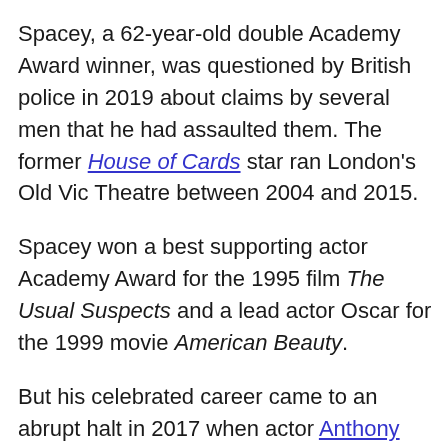Spacey, a 62-year-old double Academy Award winner, was questioned by British police in 2019 about claims by several men that he had assaulted them. The former House of Cards star ran London's Old Vic Theatre between 2004 and 2015.
Spacey won a best supporting actor Academy Award for the 1995 film The Usual Suspects and a lead actor Oscar for the 1999 movie American Beauty.
But his celebrated career came to an abrupt halt in 2017 when actor Anthony Rapp accused the star of assaulting him at a party in the 1980s, when Rapp